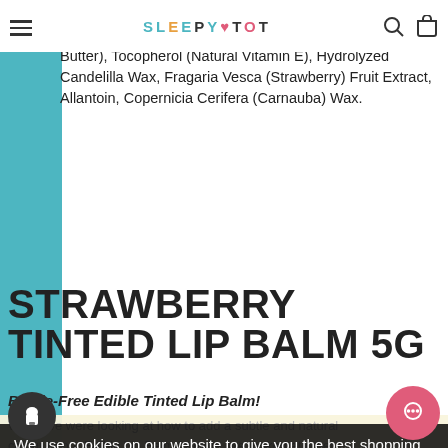SLEEPYTOT
Oil, Simmondsia Chinensis (Jojoba) Seed Oill, Zinc Oxide, Cera Alba (Beeswax), Butyrospermum Parkii (Shea Butter), Tocopherol (Natural Vitamin E), Hydrolyzed Candelilla Wax, Fragaria Vesca (Strawberry) Fruit Extract, Allantoin, Copernicia Cerifera (Carnauba) Wax.
STRAWBERRY TINTED LIP BALM 5G
Beetle-Free Edible Tinted Lip Balm!
When we were looking at how to add a subtle and natural colour to our Edible Lip Balm formula, we looked at other brands labelled "Edible" Balm, the red colour used is often be called “Carmine”, “Natural Colours” or “Natural Red Number 4”.
We use cookies on our website to give you the best shopping experience. By using this site, you agree to its use of cookies.
This is made by boiling insects in water and extracting the red dye from the insects as it breaks down.